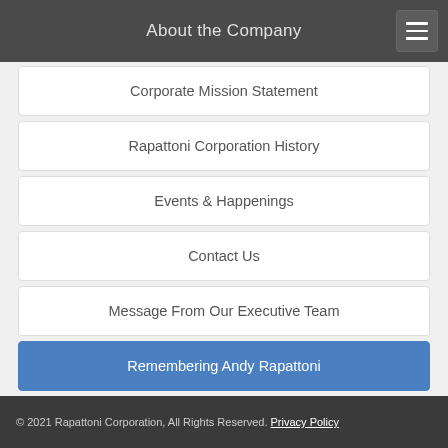About the Company
Corporate Mission Statement
Rapattoni Corporation History
Events & Happenings
Contact Us
Message From Our Executive Team
Remembering Andy Rapattoni
Rapattoni Drama Scholarship
Rapattoni & Organized Real Estate 101
© 2021 Rapattoni Corporation, All Rights Reserved. Privacy Policy